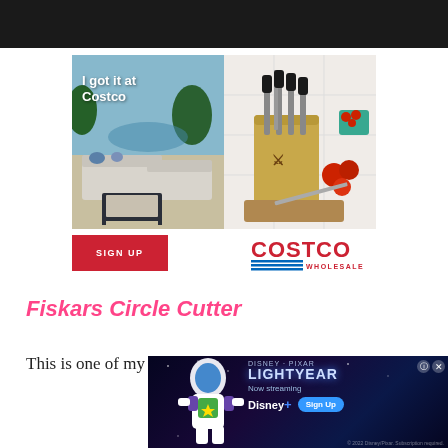[Figure (photo): Dark navigation banner at top of webpage]
[Figure (photo): Costco wholesale advertisement featuring outdoor patio furniture with text 'I got it at Costco' on the left, and a knife block set on the right, with a red SIGN UP button and Costco Wholesale logo below]
Fiskars Circle Cutter
This is one of my favorite new tools! I didn't...
[Figure (photo): Disney+ Lightyear advertisement banner with Buzz Lightyear character, 'Now streaming' text, Disney+ logo, and Sign Up button]